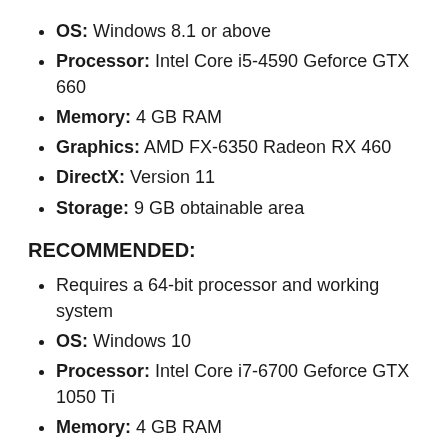OS: Windows 8.1 or above
Processor: Intel Core i5-4590 Geforce GTX 660
Memory: 4 GB RAM
Graphics: AMD FX-6350 Radeon RX 460
DirectX: Version 11
Storage: 9 GB obtainable area
RECOMMENDED:
Requires a 64-bit processor and working system
OS: Windows 10
Processor: Intel Core i7-6700 Geforce GTX 1050 Ti
Memory: 4 GB RAM
Graphics: AMD FX0500 Radeon R9